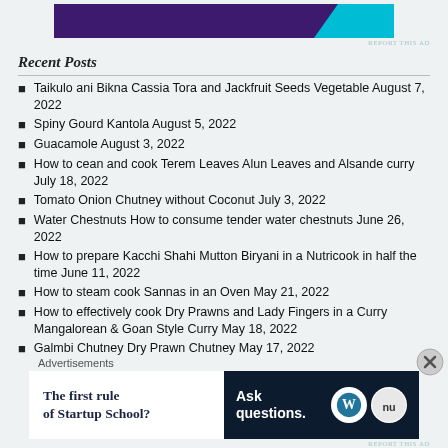[Figure (other): Advertisement banner with dark purple background and cyan accent shape]
Recent Posts
Taikulo ani Bikna Cassia Tora and Jackfruit Seeds Vegetable August 7, 2022
Spiny Gourd Kantola August 5, 2022
Guacamole August 3, 2022
How to cean and cook Terem Leaves Alun Leaves and Alsande curry July 18, 2022
Tomato Onion Chutney without Coconut July 3, 2022
Water Chestnuts How to consume tender water chestnuts June 26, 2022
How to prepare Kacchi Shahi Mutton Biryani in a Nutricook in half the time June 11, 2022
How to steam cook Sannas in an Oven May 21, 2022
How to effectively cook Dry Prawns and Lady Fingers in a Curry Mangalorean & Goan Style Curry May 18, 2022
Galmbi Chutney Dry Prawn Chutney May 17, 2022
Advertisements
[Figure (other): Advertisement: The first rule of Startup School? Ask questions. WordPress logo.]